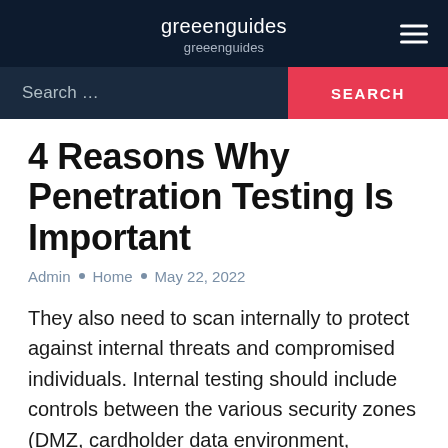greeenguides
greeenguides
Search …
4 Reasons Why Penetration Testing Is Important
Admin • Home • May 22, 2022
They also need to scan internally to protect against internal threats and compromised individuals. Internal testing should include controls between the various security zones (DMZ, cardholder data environment, SCADA environment, etc.) to ensure they are properly configured. The first factor that